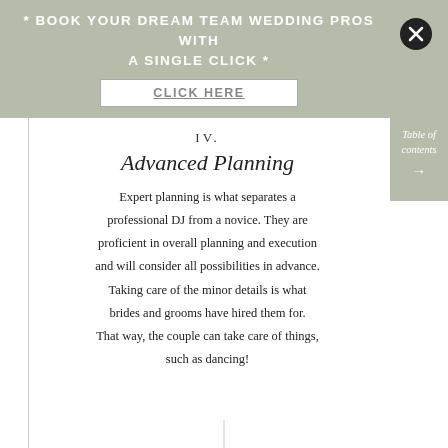* BOOK YOUR DREAM TEAM WEDDING PROS WITH A SINGLE CLICK *
CLICK HERE
IV.
Advanced Planning
Expert planning is what separates a professional DJ from a novice. They are proficient in overall planning and execution and will consider all possibilities in advance. Taking care of the minor details is what brides and grooms have hired them for. That way, the couple can take care of things, such as dancing!
Table of contents →